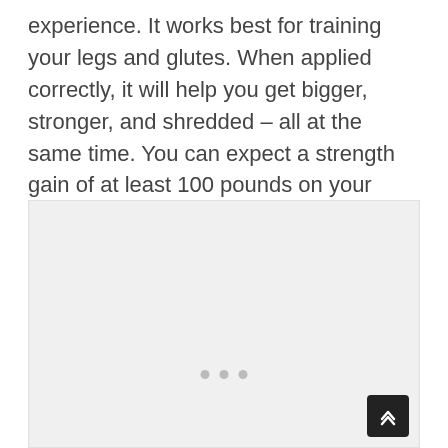experience. It works best for training your legs and glutes. When applied correctly, it will help you get bigger, stronger, and shredded – all at the same time. You can expect a strength gain of at least 100 pounds on your squat in about four months.
[Figure (photo): A large light gray placeholder image box with three gray dots at the bottom center and a dark scroll-to-top button in the bottom right corner.]